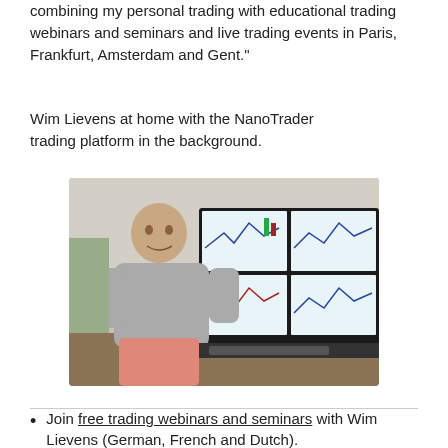combining my personal trading with educational trading webinars and seminars and live trading events in Paris, Frankfurt, Amsterdam and Gent."
Wim Lievens at home with the NanoTrader trading platform in the background.
[Figure (photo): Wim Lievens standing in front of multiple trading monitors showing NanoTrader charts]
Join free trading webinars and seminars with Wim Lievens (German, French and Dutch).